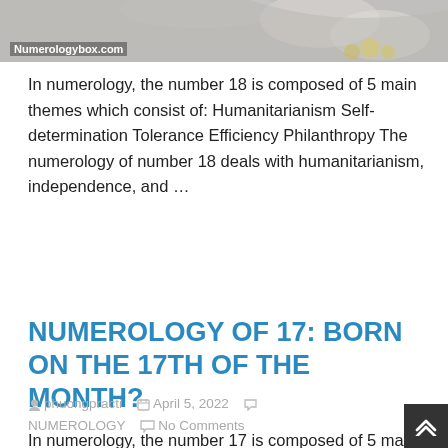[Figure (photo): Partial image of a numerology illustration with watermark 'Numerologybox.com' in bottom-left corner]
In numerology, the number 18 is composed of 5 main themes which consist of: Humanitarianism Self-determination Tolerance Efficiency Philanthropy The numerology of number 18 deals with humanitarianism, independence, and …
[Continue Reading...]
NUMEROLOGY OF 17: BORN ON THE 17TH OF THE MONTH?
phuongpracti   April 5, 2022   NUMEROLOGY   No Comments
In numerology, the number 17 is composed of 5 main themes which consist of: Business Independence Efficiency Introspection Building The